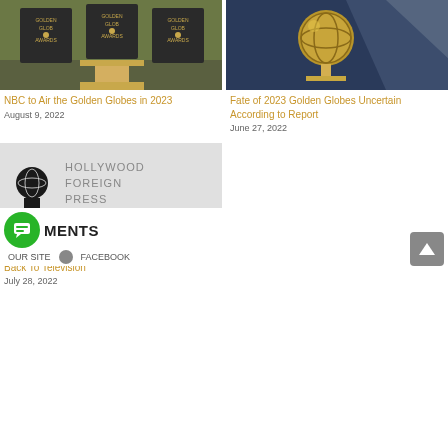[Figure (photo): Three Golden Globe Awards placards on a stage with a draped gold cloth]
NBC to Air the Golden Globes in 2023
August 9, 2022
[Figure (photo): Close-up of a Golden Globe trophy statue]
Fate of 2023 Golden Globes Uncertain According to Report
June 27, 2022
[Figure (photo): Hollywood Foreign Press Association logo with trophy silhouette]
HFPA Looking to Bring The Golden Globes Back To Television
July 28, 2022
MENTS
OUR SITE   FACEBOOK